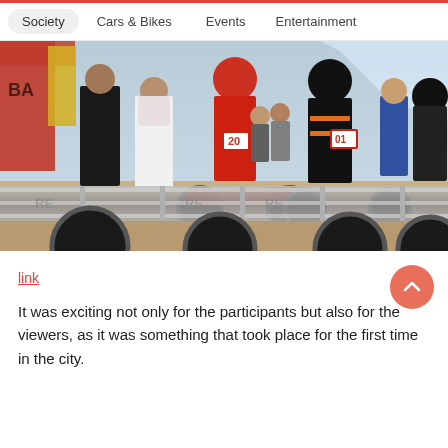Society | Cars & Bikes | Events | Entertainment
[Figure (photo): Motorcross/dirt bike race event at the starting gate. Several riders in helmets and racing gear are seated on dirt bikes numbered 20 and others. Two officials in white and dark clothing stand beside the bikes. A red tent and yellow banners are visible in the background. A metal starting gate is in the foreground.]
link
It was exciting not only for the participants but also for the viewers, as it was something that took place for the first time in the city.